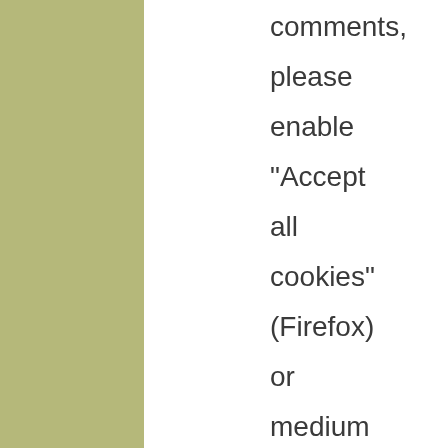comments, please enable "Accept all cookies" (Firefox) or medium security (in IE) under the Privacy tab in your browser options.